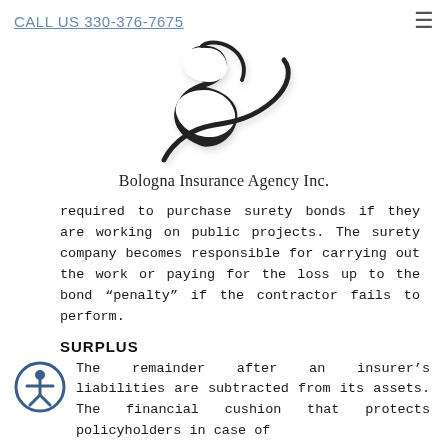CALL US 330-376-7675
[Figure (logo): Bologna Insurance Agency Inc. stylized cursive B logo in black]
Bologna Insurance Agency Inc.
required to purchase surety bonds if they are working on public projects. The surety company becomes responsible for carrying out the work or paying for the loss up to the bond “penalty” if the contractor fails to perform.
SURPLUS
The remainder after an insurer’s liabilities are subtracted from its assets. The financial cushion that protects policyholders in case of